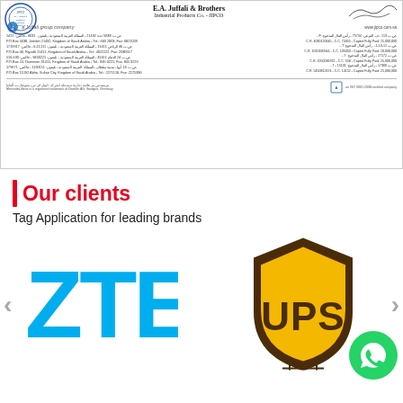[Figure (photo): E.A. Juffali & Brothers Industrial Products Co. (JIPCO) document letterhead with company stamp, signature, logo, addresses in English and Arabic, and ISO certification mark]
Our clients
Tag Application for leading brands
[Figure (logo): ZTE logo in cyan/blue color]
[Figure (logo): UPS logo - brown shield shape with yellow UPS lettering]
[Figure (logo): WhatsApp green circle button with phone icon]